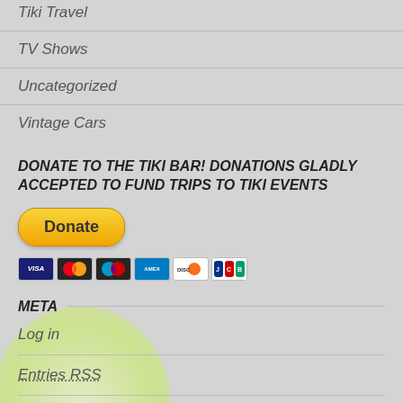Tiki Travel
TV Shows
Uncategorized
Vintage Cars
DONATE TO THE TIKI BAR! DONATIONS GLADLY ACCEPTED TO FUND TRIPS TO TIKI EVENTS
[Figure (other): PayPal Donate button with credit card icons (Visa, Mastercard, Maestro, American Express, Discover, JCB)]
META
Log in
Entries RSS
Comments RSS